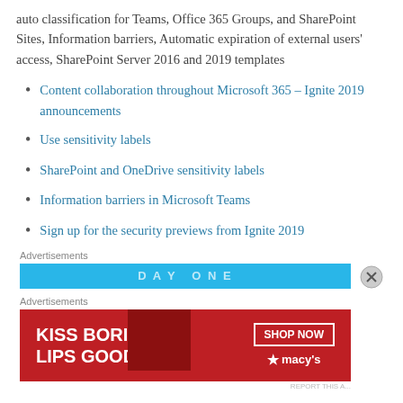auto classification for Teams, Office 365 Groups, and SharePoint Sites, Information barriers, Automatic expiration of external users' access, SharePoint Server 2016 and 2019 templates
Content collaboration throughout Microsoft 365 – Ignite 2019 announcements
Use sensitivity labels
SharePoint and OneDrive sensitivity labels
Information barriers in Microsoft Teams
Sign up for the security previews from Ignite 2019
Advertisements
[Figure (other): Blue advertisement banner with text DAY ONE]
Advertisements
[Figure (other): Macy's advertisement: KISS BORING LIPS GOODBYE with SHOP NOW button and Macy's logo on red background]